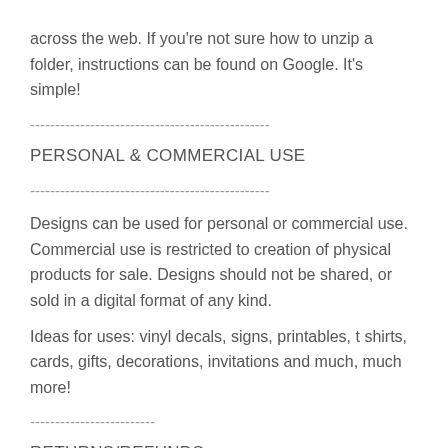across the web. If you're not sure how to unzip a folder, instructions can be found on Google. It's simple!
------------------------------------------------
PERSONAL & COMMERCIAL USE
------------------------------------------------
Designs can be used for personal or commercial use. Commercial use is restricted to creation of physical products for sale. Designs should not be shared, or sold in a digital format of any kind.
Ideas for uses: vinyl decals, signs, printables, t shirts, cards, gifts, decorations, invitations and much, much more!
-------------------------
RETURNS/REFUNDS